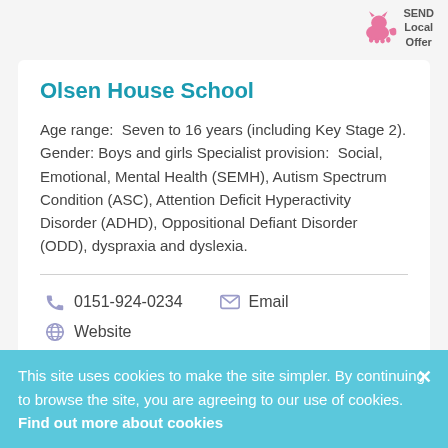[Figure (logo): SEND Local Offer logo with pink cat silhouette and text 'SEND Local Offer']
Olsen House School
Age range:  Seven to 16 years (including Key Stage 2). Gender: Boys and girls Specialist provision:  Social, Emotional, Mental Health (SEMH), Autism Spectrum Condition (ASC), Attention Deficit Hyperactivity Disorder (ADHD), Oppositional Defiant Disorder (ODD), dyspraxia and dyslexia.
0151-924-0234
Email
Website
This site uses cookies to make the site simpler. By continuing to browse the site, you are agreeing to our use of cookies. Find out more about cookies